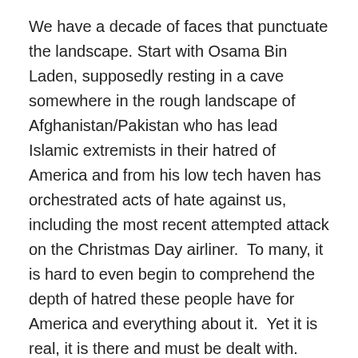We have a decade of faces that punctuate the landscape. Start with Osama Bin Laden, supposedly resting in a cave somewhere in the rough landscape of Afghanistan/Pakistan who has lead Islamic extremists in their hatred of America and from his low tech haven has orchestrated acts of hate against us, including the most recent attempted attack on the Christmas Day airliner.  To many, it is hard to even begin to comprehend the depth of hatred these people have for America and everything about it.  Yet it is real, it is there and must be dealt with.
On the other end of the decade the other face that dominates the landscape is that of Barack Obama, President of the United States, the first African-American to hold the nation's highest office, whom, by his election, has caused the world to stop and reassess our country.  It